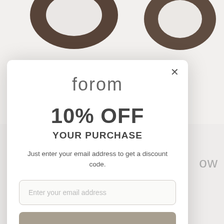[Figure (photo): Background showing partial view of dark walnut wooden decorative objects on a light background, cropped at top]
[Figure (screenshot): Email capture modal popup with Forom logo, 10% OFF discount offer, email input field, and CTA button]
forom
10% OFF
YOUR PURCHASE
Just enter your email address to get a discount code.
Enter your email address
GET DISCOUNT CODE NOW